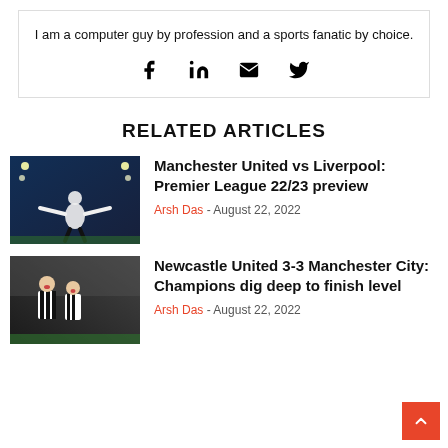I am a computer guy by profession and a sports fanatic by choice.
[Figure (other): Social media icons: Facebook, LinkedIn, Email, Twitter]
RELATED ARTICLES
[Figure (photo): Football match photo - player celebrating at a stadium (Manchester United vs Liverpool)]
Manchester United vs Liverpool: Premier League 22/23 preview
Arsh Das - August 22, 2022
[Figure (photo): Football match photo - Newcastle United players celebrating (Newcastle United 3-3 Manchester City)]
Newcastle United 3-3 Manchester City: Champions dig deep to finish level
Arsh Das - August 22, 2022